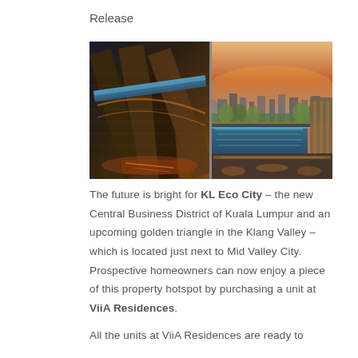Release
[Figure (photo): Two architectural renderings of KL Eco City: left shows an aerial/bird's-eye view of skyscrapers with a highlighted bridge/sky deck at night, right shows a luxury rooftop infinity pool overlooking the city at dusk.]
The future is bright for KL Eco City – the new Central Business District of Kuala Lumpur and an upcoming golden triangle in the Klang Valley – which is located just next to Mid Valley City. Prospective homeowners can now enjoy a piece of this property hotspot by purchasing a unit at ViiA Residences.
All the units at ViiA Residences are ready to